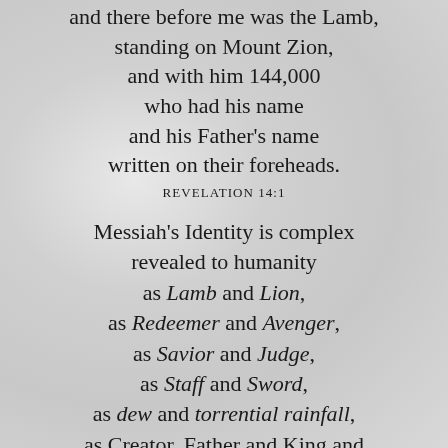and there before me was the Lamb, standing on Mount Zion, and with him 144,000 who had his name and his Father's name written on their foreheads.
REVELATION 14:1
Messiah's Identity is complex revealed to humanity as Lamb and Lion, as Redeemer and Avenger, as Savior and Judge, as Staff and Sword, as dew and torrential rainfall, as Creator, Father and King and Him Who never knew you; an understanding of both mercy and wrath, Divine favor and